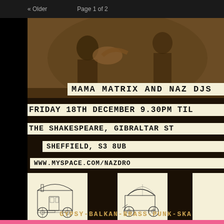« Older   Page 1 of 2
[Figure (photo): Sepia-toned photograph of musicians with brass instruments in the background]
MAMA MATRIX AND NAZ DJS
FRIDAY 18TH DECEMBER 9.30PM TIL
THE SHAKESPEARE, GIBRALTAR ST
SHEFFIELD, S3 8UB
WWW.MYSPACE.COM/NAZDRO
[Figure (illustration): Line drawing of a Bowtop gypsy caravan wagon]
Bowtop
[Figure (illustration): Line drawing of a Pot cart gypsy wagon]
Pot cart
GYPSY-BALKAN-BRASS-PUNK-SKA